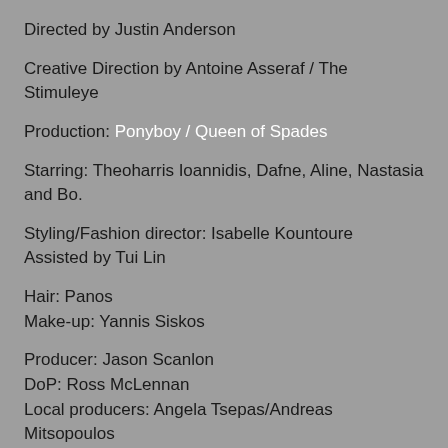Directed by Justin Anderson
Creative Direction by Antoine Asseraf / The Stimuleye
Production: Ponyboy / Queen of Spades
Starring: Theoharris Ioannidis, Dafne, Aline, Nastasia and Bo.
Styling/Fashion director: Isabelle Kountoure
Assisted by Tui Lin
Hair: Panos
Make-up: Yannis Siskos
Producer: Jason Scanlon
DoP: Ross McLennan
Local producers: Angela Tsepas/Andreas Mitsopoulos